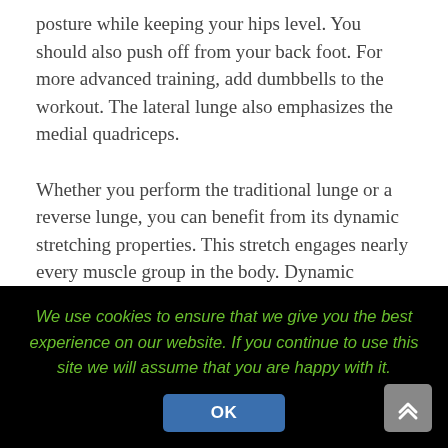posture while keeping your hips level. You should also push off from your back foot. For more advanced training, add dumbbells to the workout. The lateral lunge also emphasizes the medial quadriceps.
Whether you perform the traditional lunge or a reverse lunge, you can benefit from its dynamic stretching properties. This stretch engages nearly every muscle group in the body. Dynamic stretching helps prevent injury, and it also ensures that you engage those muscle groups later in your workout. It is also a great warm-up
We use cookies to ensure that we give you the best experience on our website. If you continue to use this site we will assume that you are happy with it.
OK